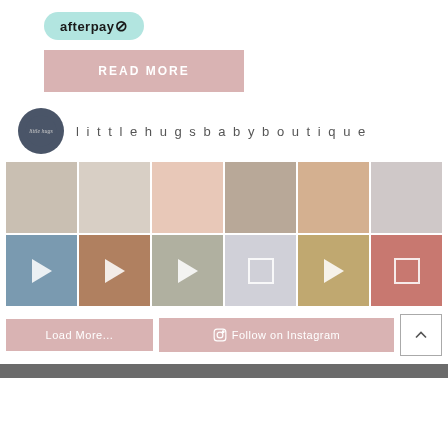[Figure (logo): Afterpay logo button in teal/mint rounded rectangle]
[Figure (other): READ MORE pink button]
littlehugsbabyboutique
[Figure (photo): Instagram feed grid with 12 photo/video thumbnails in 2 rows of 6]
[Figure (other): Load More and Follow on Instagram buttons, plus scroll-to-top button]